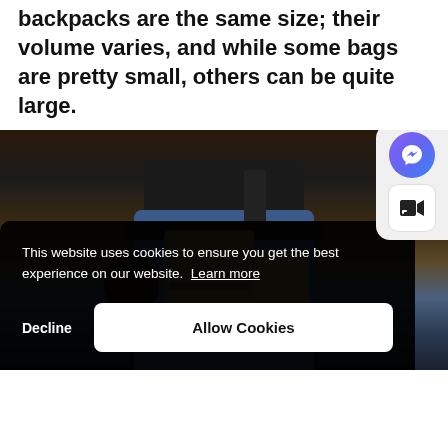backpacks are the same size; their volume varies, and while some bags are pretty small, others can be quite large.
[Figure (photo): Person wearing tactical gear, jeans, and multiple pouches/backpacks attached to a belt, holding equipment with gloved hands. Dark background.]
This website uses cookies to ensure you get the best experience on our website. Learn more
Decline   Allow Cookies